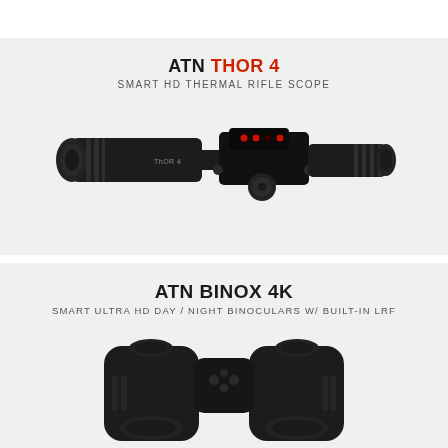ATN THOR 4
SMART HD THERMAL RIFLE SCOPE
[Figure (photo): ATN Thor 4 Smart HD Thermal Rifle Scope — a black thermal rifle scope shown in profile view against a light grey background]
ATN BINOX 4K
SMART ULTRA HD DAY / NIGHT BINOCULARS W/ BUILT-IN LRF
[Figure (photo): ATN Binox 4K Smart Ultra HD Day/Night Binoculars — a pair of black digital binoculars shown from a front-angled view, partially cropped at the bottom of the page]